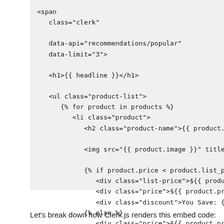<span
   class="clerk"

   data-api="recommendations/popular"
   data-limit="3">

   <h1>{{ headline }}</h1>

   <ul class="product-list">
      {% for product in products %}
         <li class="product">
            <h2 class="product-name">{{ product.name

            <img src="{{ product.image }}" title="{{

            {% if product.price < product.list_price
               <div class="list-price">${{ product.lis
               <div class="price">${{ product.price |
               <div class="discount">You Save: {{ prod
            {% else %}
               <div class="price">${{ product.price
Let's break down how Clerk.js renders this embed code: